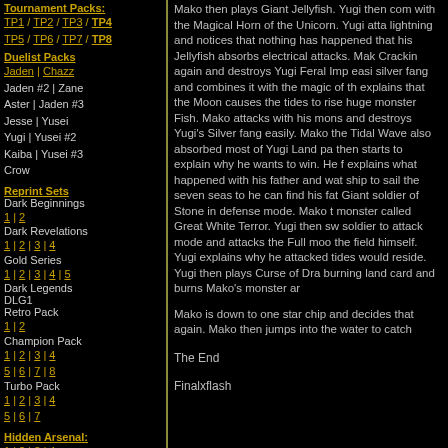Tournament Packs: TP1 / TP2 / TP3 / TP4 TP5 / TP6 / TP7 / TP8
Duelist Packs: Jaden | Chazz, Jaden #2 | Zane, Aster | Jaden #3, Jesse | Yusei, Yugi | Yusei #2, Kaiba | Yusei #3, Crow
Reprint Sets: Dark Beginnings 1 | 2, Dark Revelations 1 | 2 | 3 | 4, Gold Series 1 | 2 | 3 | 4 | 5, Dark Legends DLG1, Retro Pack 1 | 2, Champion Pack 1 | 2 | 3 | 4 | 5 | 6 | 7 | 8, Turbo Pack 1 | 2 | 3 | 4 | 5 | 6 | 7
Hidden Arsenal: 1 | 2 | 3 | 4 | 5 | 6 | 7
Checklists: Brawlermatrix 08, Evan T 08, X-Ref List, X-Ref List w/ Passcodes
Mako then plays Giant Jellyfish. Yugi then combines with the Magical Horn of the Unicorn. Yugi attacks with lightning and notices that nothing has happened due to that his Jellyfish absorbs electrical attacks. Mako Crackin again and destroys Yugi Feral Imp easily, silver fang and combines it with the magic of the, explains that the Moon causes the tides to rise huge monster Fish. Mako attacks with his monster and destroys Yugi's Silver fang easily. Mako the Tidal Wave also absorbed most of Yugi Land pa then starts to explain why he wants to win. He f explains what happened with his father and war ship to sail the seven seas to he can find his fat Giant soldier of Stone in defense mode. Mako t monster called Great White Terror. Yugi then sw soldier to attack mode and attacks the Full moo the field himself. Yugi explains why he attacked tides would reside. Yugi then plays Curse of Dra burning land card and burns Mako's monster ar
Mako is down to one star chip and decides that again. Mako then jumps into the water to catch
The End
Finalxflash